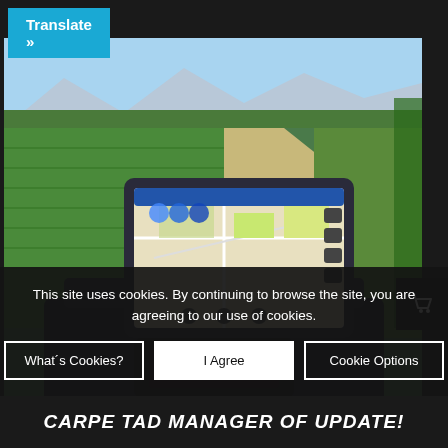[Figure (other): Translate button in cyan/blue]
[Figure (photo): Motorcycle handlebar view with GPS/tablet navigation device mounted, showing a map on the screen. Scenic countryside road with green fields and mountains in the background, shot from the rider's perspective.]
This site uses cookies. By continuing to browse the site, you are agreeing to our use of cookies.
What´s Cookies?   I Agree   Cookie Options
CARPE TAD MANAGER OF UPDATE!